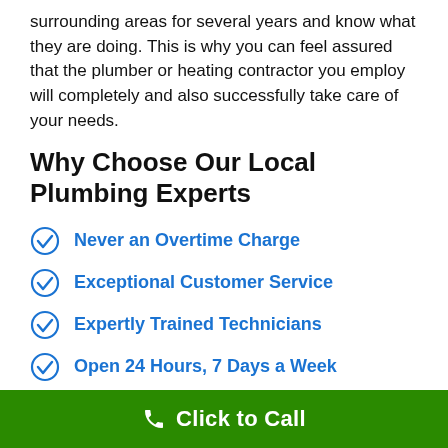surrounding areas for several years and know what they are doing. This is why you can feel assured that the plumber or heating contractor you employ will completely and also successfully take care of your needs.
Why Choose Our Local Plumbing Experts
Never an Overtime Charge
Exceptional Customer Service
Expertly Trained Technicians
Open 24 Hours, 7 Days a Week
Courteous, Uniformed Professionals
After hours emergency dispatch available
Click to Call